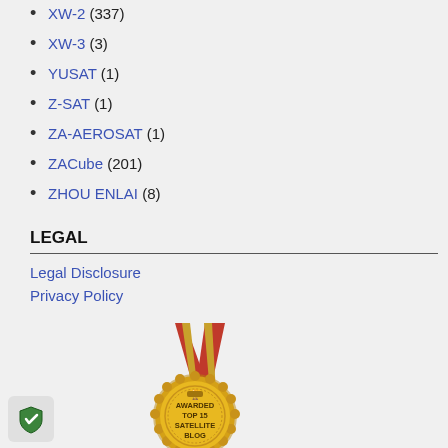XW-2 (337)
XW-3 (3)
YUSAT (1)
Z-SAT (1)
ZA-AEROSAT (1)
ZACube (201)
ZHOU ENLAI (8)
LEGAL
Legal Disclosure
Privacy Policy
[Figure (illustration): Gold medal with red ribbon awarded Top 15 Satellite Blog]